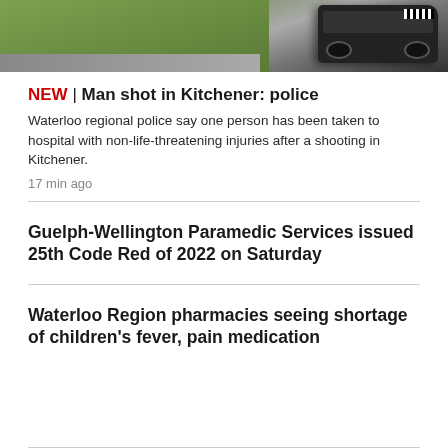[Figure (photo): Top portion of a news webpage showing a photo of a police vehicle parked on a residential driveway with grass/lawn in the background]
NEW | Man shot in Kitchener: police
Waterloo regional police say one person has been taken to hospital with non-life-threatening injuries after a shooting in Kitchener.
17 min ago
Guelph-Wellington Paramedic Services issued 25th Code Red of 2022 on Saturday
Waterloo Region pharmacies seeing shortage of children's fever, pain medication